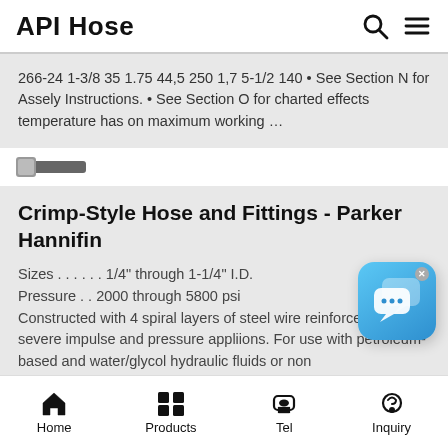API Hose
266-24 1-3/8 35 1.75 44,5 250 1,7 5-1/2 140 • See Section N for Assely Instructions. • See Section O for charted effects temperature has on maximum working …
[Figure (photo): Small thumbnail image of a hose fitting product]
Crimp-Style Hose and Fittings - Parker Hannifin
Sizes . . . . . . 1/4" through 1-1/4" I.D. Pressure . . 2000 through 5800 psi Constructed with 4 spiral layers of steel wire reinforcement for severe impulse and pressure appliions. For use with petroleum-based and water/glycol hydraulic fluids or non
Home  Products  Tel  Inquiry